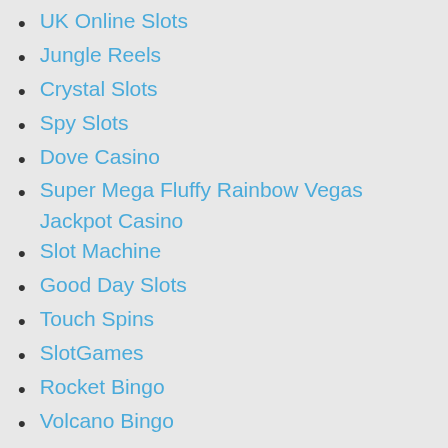UK Online Slots
Jungle Reels
Crystal Slots
Spy Slots
Dove Casino
Super Mega Fluffy Rainbow Vegas Jackpot Casino
Slot Machine
Good Day Slots
Touch Spins
SlotGames
Rocket Bingo
Volcano Bingo
Casper Games
Aztec Wins
Crazy King
PlayLeon
WelcomeSlots
Gotham Slots
Target Slots